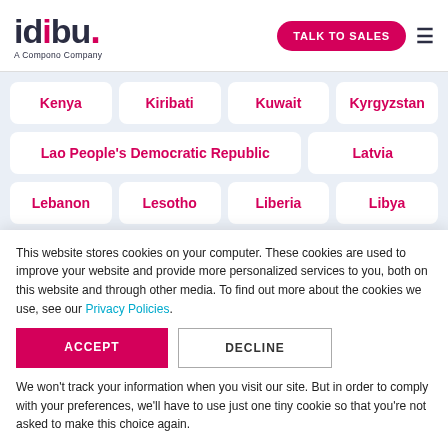idibu. A Compono Company — TALK TO SALES
Kenya
Kiribati
Kuwait
Kyrgyzstan
Lao People's Democratic Republic
Latvia
Lebanon
Lesotho
Liberia
Libya
Liechtenstein
Lithuania
Luxembourg
This website stores cookies on your computer. These cookies are used to improve your website and provide more personalized services to you, both on this website and through other media. To find out more about the cookies we use, see our Privacy Policies.
We won't track your information when you visit our site. But in order to comply with your preferences, we'll have to use just one tiny cookie so that you're not asked to make this choice again.